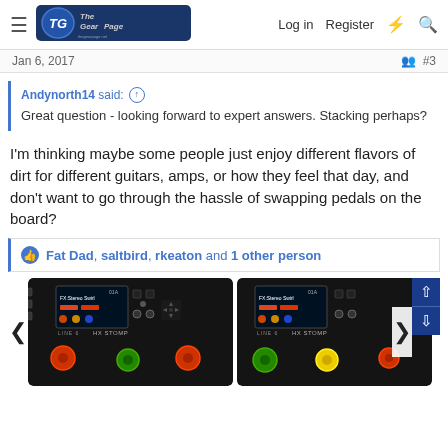The Gear Page — Log in  Register
Jan 6, 2017   #3
Andynorth14 said: ↑
Great question - looking forward to expert answers. Stacking perhaps?
I'm thinking maybe some people just enjoy different flavors of dirt for different guitars, amps, or how they feel that day, and don't want to go through the hassle of swapping pedals on the board?
Fat Dad, saltbird, rkeaton and 1 other person
[Figure (photo): Two HX Stomp guitar effects units side by side, black devices with small screens showing FX:Stereo Swirl patch, colorful stomp buttons at the bottom]